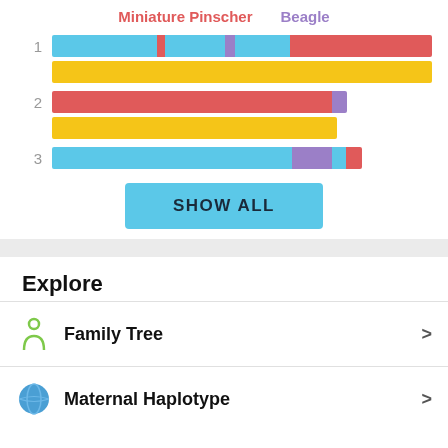[Figure (stacked-bar-chart): Stacked horizontal bar chart showing chromosome segments for 3 chromosomes. Each chromosome has two bars (top/bottom). Colors represent breed segments: blue (skyblue), red (salmon/red), purple, yellow. Legend shows Miniature Pinscher (red) and Beagle (purple). Chromosome 1: top bar has blue, small red, blue, small purple, blue, large red; bottom bar is all yellow. Chromosome 2: top bar is large red with small purple at end; bottom bar is large yellow. Chromosome 3: top bar is large blue with purple, blue, small red at end.]
SHOW ALL
Explore
Family Tree
Maternal Haplotype